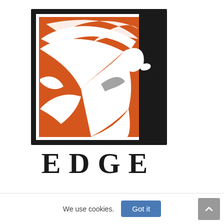[Figure (logo): Prairie Edge logo featuring a black-bordered square with an orange background showing a white stylized eagle/bird silhouette. The word PRAIRIE is written vertically on the right side in white serif letters on a black background. Below the square, the word EDGE is written in large spaced black serif/slab letters.]
We use cookies.
Got it